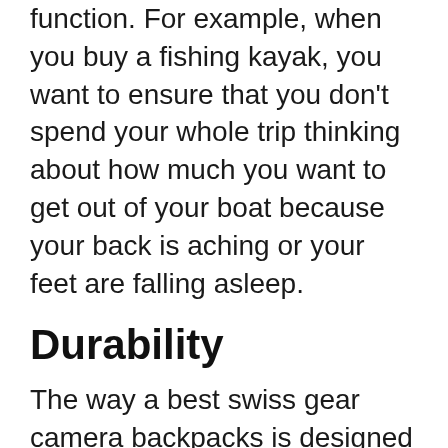function. For example, when you buy a fishing kayak, you want to ensure that you don't spend your whole trip thinking about how much you want to get out of your boat because your back is aching or your feet are falling asleep.
Durability
The way a best swiss gear camera backpacks is designed and manufactured and the material it is made of are key attributes indicating how durable it will be. Choose the best swiss gear camera backpacks that has the ability to withstand wear, pressure, or damage.
Plus, make sure it features a sleek design